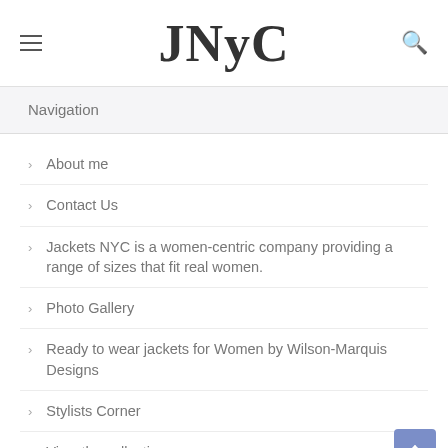JNyC
Navigation
About me
Contact Us
Jackets NYC is a women-centric company providing a range of sizes that fit real women.
Photo Gallery
Ready to wear jackets for Women by Wilson-Marquis Designs
Stylists Corner
View the collection